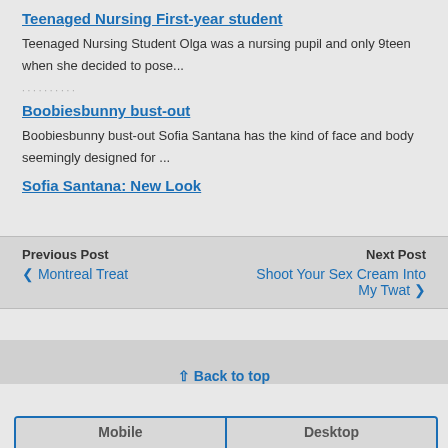Teenaged Nursing First-year student
Teenaged Nursing Student Olga was a nursing pupil and only 9teen when she decided to pose...
Boobiesbunny bust-out
Boobiesbunny bust-out Sofia Santana has the kind of face and body seemingly designed for ...
Sofia Santana: New Look
Previous Post ❮ Montreal Treat    Next Post Shoot Your Sex Cream Into My Twat ❯
⇪ Back to top
Mobile    Desktop